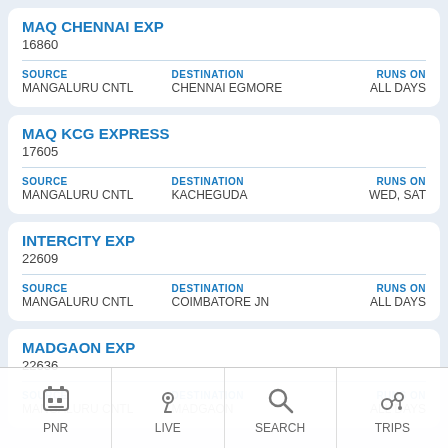MAQ CHENNAI EXP
16860
SOURCE: MANGALURU CNTL | DESTINATION: CHENNAI EGMORE | RUNS ON: ALL DAYS
MAQ KCG EXPRESS
17605
SOURCE: MANGALURU CNTL | DESTINATION: KACHEGUDA | RUNS ON: WED, SAT
INTERCITY EXP
22609
SOURCE: MANGALURU CNTL | DESTINATION: COIMBATORE JN | RUNS ON: ALL DAYS
MADGAON EXP
22636
SOURCE: MANGALURU CNTL | DESTINATION: MADGAON | RUNS ON: ALL DAYS
PNR | LIVE | SEARCH | TRIPS